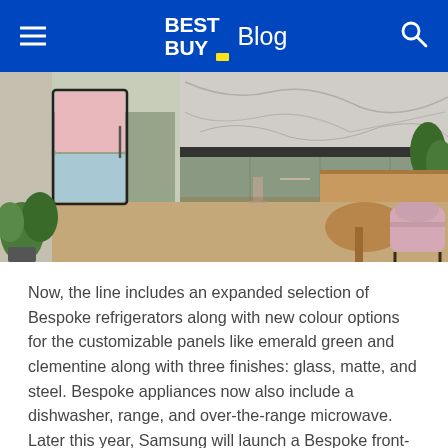BEST BUY Blog
[Figure (photo): Kitchen interior with Samsung Bespoke refrigerator featuring pink and blue customizable panels, sage green cabinetry, marble backsplash, wooden island, and pink accent chair]
Now, the line includes an expanded selection of Bespoke refrigerators along with new colour options for the customizable panels like emerald green and clementine along with three finishes: glass, matte, and steel. Bespoke appliances now also include a dishwasher, range, and over-the-range microwave. Later this year, Samsung will launch a Bespoke front-load washer and dryer and the Bespoke Jet cordless stick vacuum.